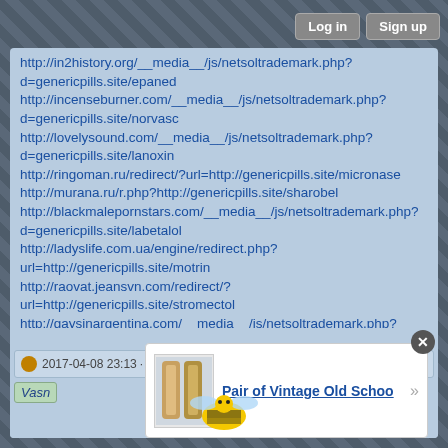Log in  Sign up
http://in2history.org/__media__/js/netsoltrademark.php?d=genericpills.site/epaned
http://incenseburner.com/__media__/js/netsoltrademark.php?d=genericpills.site/norvasc
http://lovelysound.com/__media__/js/netsoltrademark.php?d=genericpills.site/lanoxin
http://ringoman.ru/redirect/?url=http://genericpills.site/micronase
http://murana.ru/r.php?http://genericpills.site/sharobel
http://blackmalepornstars.com/__media__/js/netsoltrademark.php?d=genericpills.site/labetalol
http://ladyslife.com.ua/engine/redirect.php?url=http://genericpills.site/motrin
http://raovat.jeansvn.com/redirect/?url=http://genericpills.site/stromectol
http://gaysinargentina.com/__media__/js/netsoltrademark.php?d=genericpills.site/glyburide
http://westernguy.com/__media__/js/netsoltrademark.php?d=genericpills.site/tolterodine
2017-04-08 23:13 · Reply · (0)
[Figure (screenshot): Popup advertisement showing 'Pair of Vintage Old Schoo' with product image]